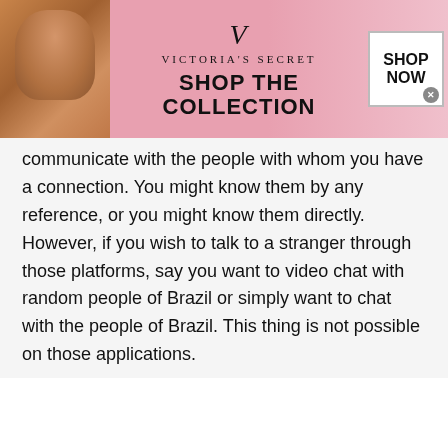[Figure (other): Victoria's Secret advertisement banner with model photo, VS logo, 'SHOP THE COLLECTION' text, and 'SHOP NOW' button]
communicate with the people with whom you have a connection. You might know them by any reference, or you might know them directly. However, if you wish to talk to a stranger through those platforms, say you want to video chat with random people of Brazil or simply want to chat with the people of Brazil. This thing is not possible on those applications.
Compatibility:
[Figure (other): Wayfair.com advertisement banner with product image, title 'Wayfair.com - Online Home Store Sale!', description text, URL, and arrow button]